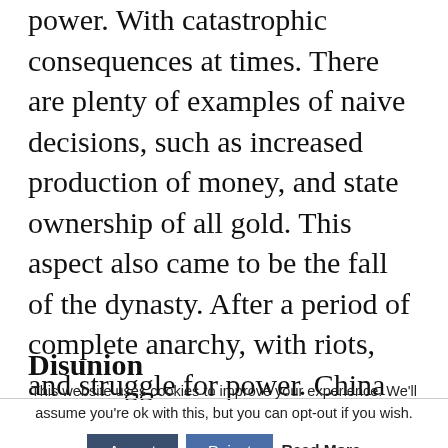power. With catastrophic consequences at times. There are plenty of examples of naive decisions, such as increased production of money, and state ownership of all gold. This aspect also came to be the fall of the dynasty. After a period of complete anarchy, with riots, and struggle for power. China was divided up among three warlords. The Han Dynasty came to an end in 220 AD.
Disunion
This website uses cookies to improve your experience. We'll assume you're ok with this, but you can opt-out if you wish. Accept Reject Read More